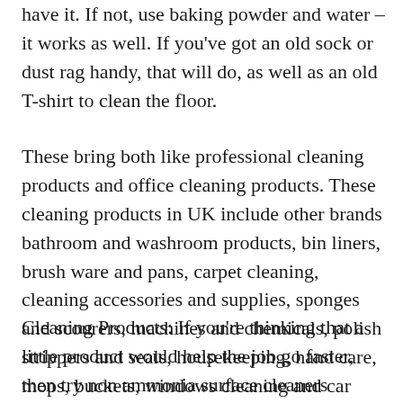have it. If not, use baking powder and water – it works as well. If you've got an old sock or dust rag handy, that will do, as well as an old T-shirt to clean the floor.
These bring both like professional cleaning products and office cleaning products. These cleaning products in UK include other brands bathroom and washroom products, bin liners, brush ware and pans, carpet cleaning, cleaning accessories and supplies, sponges and scourers, machines and chemicals, polish strippers and seals, housekeeping, hand care, mops, buckets, windows cleaning and car cleaning equipment.
Cleaning Products: If you're thinking that a little product would help the job go faster, then try non ammonia surface cleaners (ammonia makes me wince), dish detergent, and scouring powders like Bon Ami, which is non toxic and odorless, baking in a borax. Mix baking